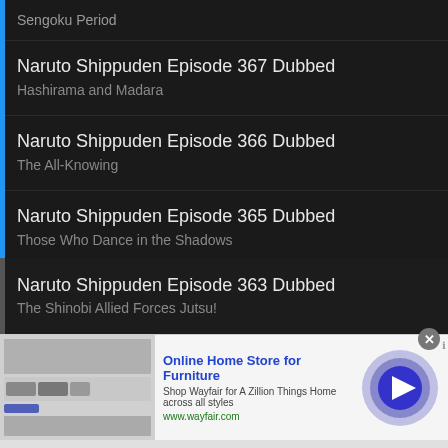Sengoku Period
Naruto Shippuden Episode 367 Dubbed
Hashirama and Madara
Naruto Shippuden Episode 366 Dubbed
The All-Knowing
Naruto Shippuden Episode 365 Dubbed
Those Who Dance in the Shadows
Naruto Shippuden Episode 364 Dubbed
The Ties That Bind
Naruto Shippuden Episode 363 Dubbed
The Shinobi Allied Forces Jutsu!
[Figure (screenshot): Wayfair advertisement banner with furniture image, blue play button circle, and close button]